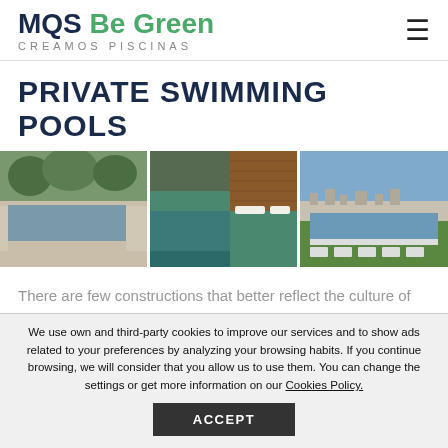MQS Be Green – CREAMOS PISCINAS
PRIVATE SWIMMING POOLS
[Figure (photo): Three side-by-side photographs of private swimming pools: left shows a long infinity pool with stone surround and trees, center shows a pool with wooden deck and lounge chairs, right shows an infinity pool overlooking a town with blue sky.]
There are few constructions that better reflect the culture of leisure and satisfaction that swimming pools create. Adding a swimming pool in your private home means
We use own and third-party cookies to improve our services and to show ads related to your preferences by analyzing your browsing habits. If you continue browsing, we will consider that you allow us to use them. You can change the settings or get more information on our Cookies Policy.
ACCEPT